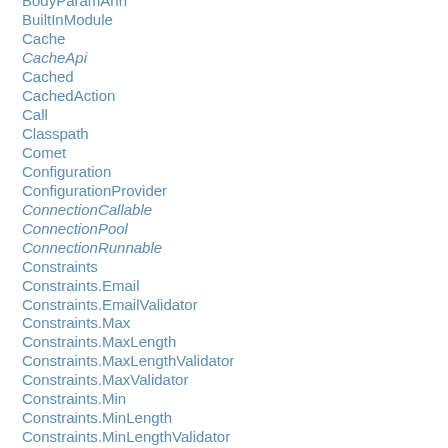BodyParamAnn
BuiltInModule
Cache
CacheApi
Cached
CachedAction
Call
Classpath
Comet
Configuration
ConfigurationProvider
ConnectionCallable
ConnectionPool
ConnectionRunnable
Constraints
Constraints.Email
Constraints.EmailValidator
Constraints.Max
Constraints.MaxLength
Constraints.MaxLengthValidator
Constraints.MaxValidator
Constraints.Min
Constraints.MinLength
Constraints.MinLengthValidator
Constraints.MinValidator
Constraints.Pattern
Constraints.PatternValidator
Constraints.Required
Constraints.RequiredValidator